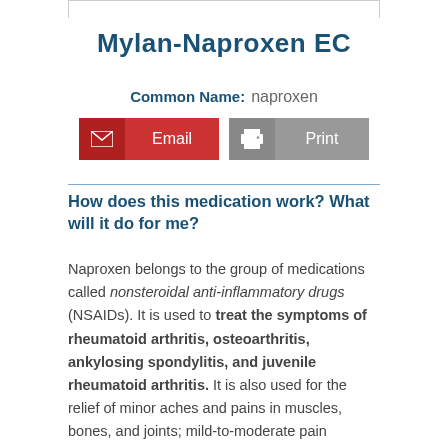Mylan-Naproxen EC
Common Name: naproxen
How does this medication work? What will it do for me?
Naproxen belongs to the group of medications called nonsteroidal anti-inflammatory drugs (NSAIDs). It is used to treat the symptoms of rheumatoid arthritis, osteoarthritis, ankylosing spondylitis, and juvenile rheumatoid arthritis. It is also used for the relief of minor aches and pains in muscles, bones, and joints; mild-to-moderate pain accompanied by inflammation in injuries (e.g., sprains and strains); and menstrual cramps.